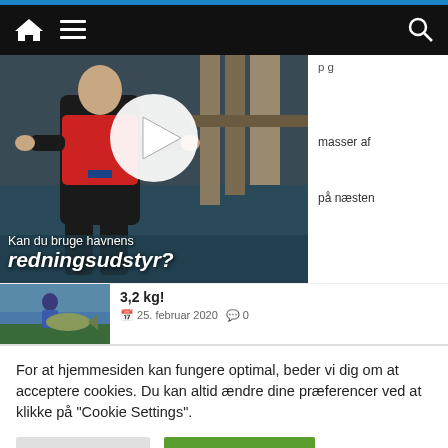Navigation bar with home, menu, and search icons
[Figure (photo): Video thumbnail showing a man in a wetsuit and red life vest at a harbor dock, with a large white play button overlay and text 'Kan du bruge havnens redningsudstyr?']
masser af
på næsten
3,2 kg!
[Figure (photo): Small thumbnail of a person holding a large fish outdoors]
25. februar 2020   0
For at hjemmesiden kan fungere optimal, beder vi dig om at acceptere cookies. Du kan altid ændre dine præferencer ved at klikke på "Cookie Settings".